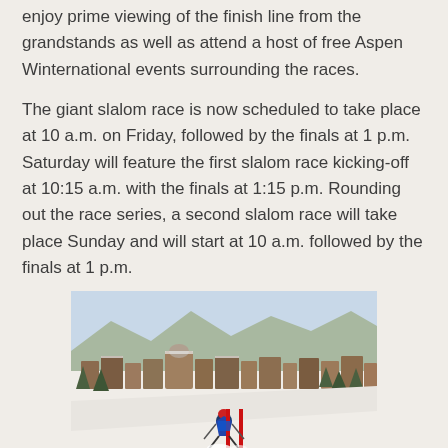enjoy prime viewing of the finish line from the grandstands as well as attend a host of free Aspen Winternational events surrounding the races.
The giant slalom race is now scheduled to take place at 10 a.m. on Friday, followed by the finals at 1 p.m. Saturday will feature the first slalom race kicking-off at 10:15 a.m. with the finals at 1:15 p.m. Rounding out the race series, a second slalom race will take place Sunday and will start at 10 a.m. followed by the finals at 1 p.m.
[Figure (photo): Aerial photo of a skier racing downhill with a town (Aspen) visible in the background below, buildings and trees visible, blue sky above.]